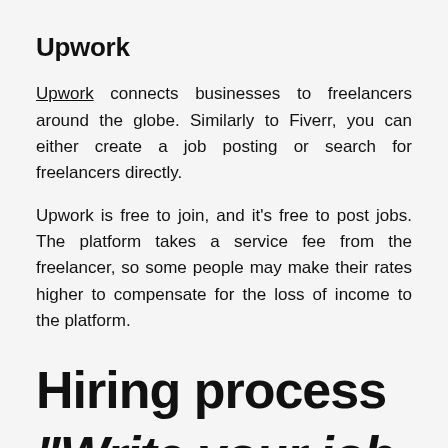Upwork
Upwork connects businesses to freelancers around the globe. Similarly to Fiverr, you can either create a job posting or search for freelancers directly.
Upwork is free to join, and it's free to post jobs. The platform takes a service fee from the freelancer, so some people may make their rates higher to compensate for the loss of income to the platform.
Hiring process
"Write your job description...